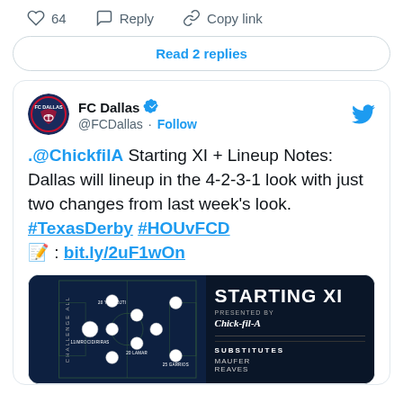64  Reply  Copy link
Read 2 replies
FC Dallas @FCDallas · Follow
.@ChickfilA Starting XI + Lineup Notes: Dallas will lineup in the 4-2-3-1 look with just two changes from last week's look. #TexasDerby #HOUvFCD 📝: bit.ly/2uF1wOn
[Figure (screenshot): FC Dallas Starting XI graphic showing soccer field formation with player circles and substitutes list including MAUFER and REAVES, presented by Chick-fil-A]